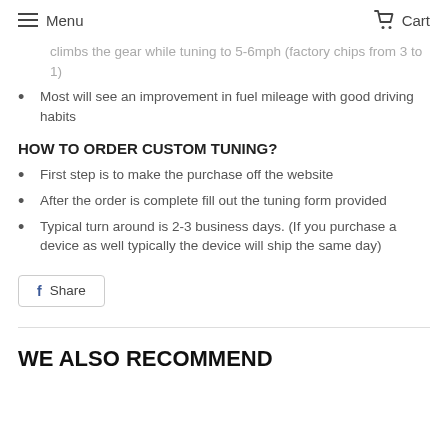Menu   Cart
climbs the gear while tuning to 5-6 mph (factory chips from 3 to 1)
Most will see an improvement in fuel mileage with good driving habits
HOW TO ORDER CUSTOM TUNING?
First step is to make the purchase off the website
After the order is complete fill out the tuning form provided
Typical turn around is 2-3 business days. (If you purchase a device as well typically the device will ship the same day)
Share
WE ALSO RECOMMEND